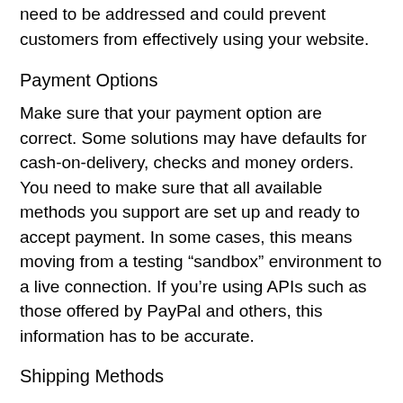need to be addressed and could prevent customers from effectively using your website.
Payment Options
Make sure that your payment option are correct. Some solutions may have defaults for cash-on-delivery, checks and money orders. You need to make sure that all available methods you support are set up and ready to accept payment. In some cases, this means moving from a testing “sandbox” environment to a live connection. If you’re using APIs such as those offered by PayPal and others, this information has to be accurate.
Shipping Methods
If you’re using services such as USPS or UPS, your account information is needed in order for the online store to charge exact prices for shipments. However, you can simply charge